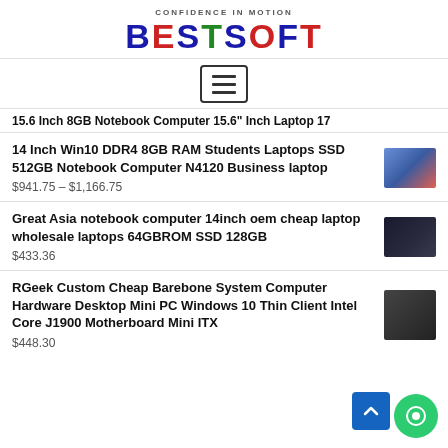CONFIDENCE IN MOTION
BESTSOFT
15.6 Inch 8GB Notebook Computer 15.6" Inch Laptop 17
14 Inch Win10 DDR4 8GB RAM Students Laptops SSD 512GB Notebook Computer N4120 Business laptop
$941.75 – $1,166.75
Great Asia notebook computer 14inch oem cheap laptop wholesale laptops 64GBROM SSD 128GB
$433.36
RGeek Custom Cheap Barebone System Computer Hardware Desktop Mini PC Windows 10 Thin Client Intel Core J1900 Motherboard Mini ITX
$448.30